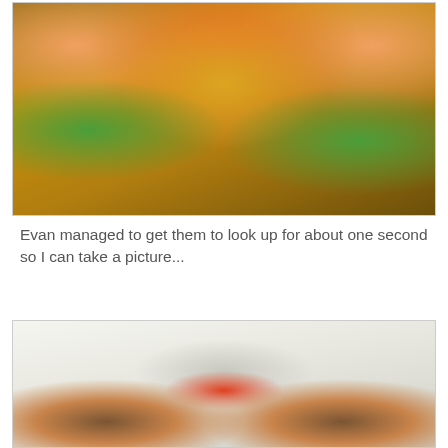[Figure (photo): Two toddlers in orange shirts sitting on green plastic chairs at a small wooden table with a colorful bead maze toy, playing and engaged with the toy]
Evan managed to get them to look up for about one second so I can take a picture...
[Figure (photo): Two young babies / toddlers with dark hair looking upward toward the camera, sitting in front of a colorful bead maze toy, in a bright room]